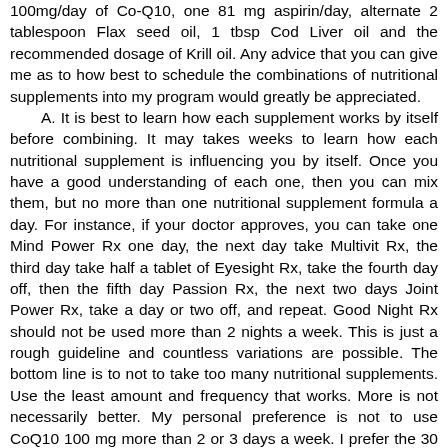100mg/day of Co-Q10, one 81 mg aspirin/day, alternate 2 tablespoon Flax seed oil, 1 tbsp Cod Liver oil and the recommended dosage of Krill oil. Any advice that you can give me as to how best to schedule the combinations of nutritional supplements into my program would greatly be appreciated.
A. It is best to learn how each supplement works by itself before combining. It may takes weeks to learn how each nutritional supplement is influencing you by itself. Once you have a good understanding of each one, then you can mix them, but no more than one nutritional supplement formula a day. For instance, if your doctor approves, you can take one Mind Power Rx one day, the next day take Multivit Rx, the third day take half a tablet of Eyesight Rx, take the fourth day off, then the fifth day Passion Rx, the next two days Joint Power Rx, take a day or two off, and repeat. Good Night Rx should not be used more than 2 nights a week. This is just a rough guideline and countless variations are possible. The bottom line is to not to take too many nutritional supplements. Use the least amount and frequency that works. More is not necessarily better. My personal preference is not to use CoQ10 100 mg more than 2 or 3 days a week. I prefer the 30 mg dosage.